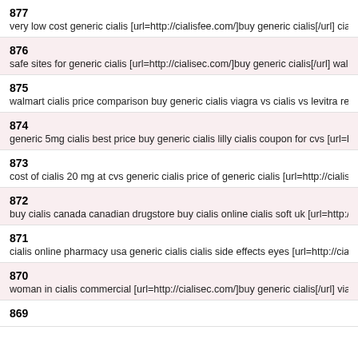877
very low cost generic cialis [url=http://cialisfee.com/]buy generic cialis[/url] cialis price vs via
876
safe sites for generic cialis [url=http://cialisec.com/]buy generic cialis[/url] walgreen cialis pr
875
walmart cialis price comparison buy generic cialis viagra vs cialis vs levitra reviews [url=htt
874
generic 5mg cialis best price buy generic cialis lilly cialis coupon for cvs [url=http://cialisfee
873
cost of cialis 20 mg at cvs generic cialis price of generic cialis [url=http://cialisec.com/]gene
872
buy cialis canada canadian drugstore buy cialis online cialis soft uk [url=http://cialisdxt.com
871
cialis online pharmacy usa generic cialis cialis side effects eyes [url=http://cialisfee.com/]ge
870
woman in cialis commercial [url=http://cialisec.com/]buy generic cialis[/url] viagra or cialis p
869